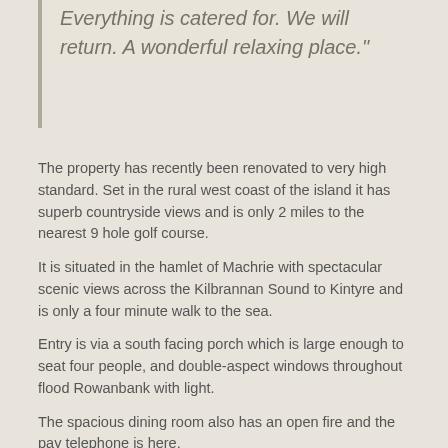Perfect cottage with great views. Everything is catered for. We will return. A wonderful relaxing place."
The property has recently been renovated to very high standard. Set in the rural west coast of the island it has superb countryside views and is only 2 miles to the nearest 9 hole golf course.
It is situated in the hamlet of Machrie with spectacular scenic views across the Kilbrannan Sound to Kintyre and is only a four minute walk to the sea.
Entry is via a south facing porch which is large enough to seat four people, and double-aspect windows throughout flood Rowanbank with light.
The spacious dining room also has an open fire and the pay telephone is here.
Off the hall to the left is the utility room with a washing machine, tumble drier and iron.